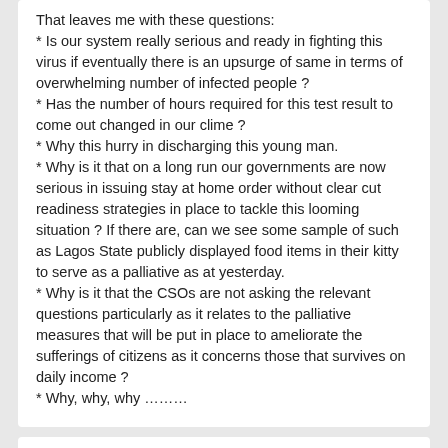That leaves me with these questions:
* Is our system really serious and ready in fighting this virus if eventually there is an upsurge of same in terms of overwhelming number of infected people ?
* Has the number of hours required for this test result to come out changed in our clime ?
* Why this hurry in discharging this young man.
* Why is it that on a long run our governments are now serious in issuing stay at home order without clear cut readiness strategies in place to tackle this looming situation ? If there are, can we see some sample of such as Lagos State publicly displayed food items in their kitty to serve as a palliative as at yesterday.
* Why is it that the CSOs are not asking the relevant questions particularly as it relates to the palliative measures that will be put in place to ameliorate the sufferings of citizens as it concerns those that survives on daily income ?
* Why, why, why ………
Details
Date of Occurrence   2020-04-30